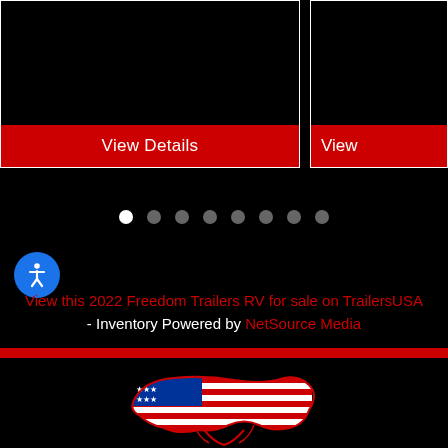[Figure (screenshot): Black card with 'View Details' red button on left]
[Figure (screenshot): Black card with partial 'View' red button on right (cropped)]
[Figure (infographic): Carousel pagination dots: 8 dots, first one white (active), rest gray]
[Figure (illustration): Blue circular accessibility icon with white figure]
View this 2022 Freedom Trailers RV for sale on TrailersUSA - Inventory Powered by NetSource Media
[Figure (illustration): USA map with American flag pattern at bottom of page]